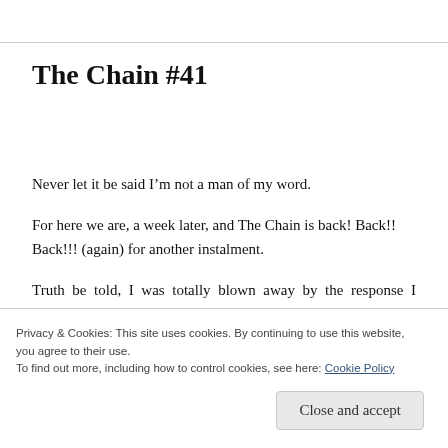The Chain #41
Never let it be said I'm not a man of my word.
For here we are, a week later, and The Chain is back! Back!! Back!!! (again) for another instalment.
Truth be told, I was totally blown away by the response I received to last week's edition, so blown
Privacy & Cookies: This site uses cookies. By continuing to use this website, you agree to their use.
To find out more, including how to control cookies, see here: Cookie Policy
Close and accept